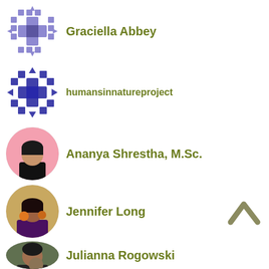Graciella Abbey
humansinnatureproject
Ananya Shrestha, M.Sc.
Jennifer Long
Julianna Rogowski
Jacob Morrow
Kalyn Nowlan
Kajal Patel